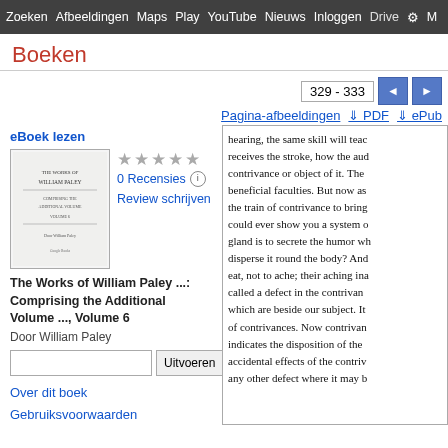Zoeken  Afbeeldingen  Maps  Play  YouTube  Nieuws  Inloggen  Drive  M
Boeken
329 - 333
Pagina-afbeeldingen  ↓ PDF  ↓ ePub
eBoek lezen
[Figure (illustration): Book cover thumbnail showing title page of The Works of William Paley]
★★★★★
0 Recensies
Review schrijven
The Works of William Paley ...: Comprising the Additional Volume ..., Volume 6
Door William Paley
Uitvoeren
Over dit boek
Gebruiksvoorwaarden
hearing, the same skill will teac receives the stroke, how the aud contrivance or object of it. The beneficial faculties. But now as the train of contrivance to bring could ever show you a system o gland is to secrete the humor wh disperse it round the body? And eat, not to ache; their aching ina called a defect in the contrivan which are beside our subject. It of contrivances. Now contrivan indicates the disposition of the accidental effects of the contriv any other defect where it may b